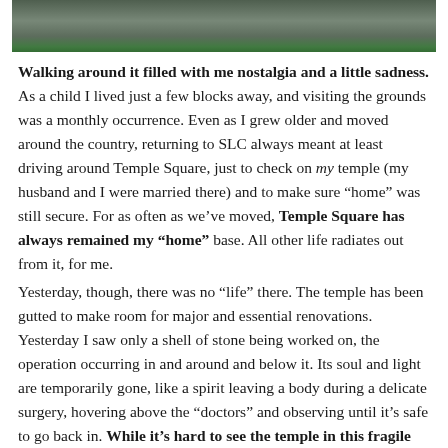[Figure (photo): Partial view of a building exterior, appears to be a temple or historic structure with architectural details visible at the top of the page]
Walking around it filled with me nostalgia and a little sadness. As a child I lived just a few blocks away, and visiting the grounds was a monthly occurrence. Even as I grew older and moved around the country, returning to SLC always meant at least driving around Temple Square, just to check on my temple (my husband and I were married there) and to make sure “home” was still secure. For as often as we’ve moved, Temple Square has always remained my “home” base. All other life radiates out from it, for me.
Yesterday, though, there was no “life” there. The temple has been gutted to make room for major and essential renovations. Yesterday I saw only a shell of stone being worked on, the operation occurring in and around and below it. Its soul and light are temporarily gone, like a spirit leaving a body during a delicate surgery, hovering above the “doctors” and observing until it’s safe to go back in. While it’s hard to see the temple in this fragile state, it’s also